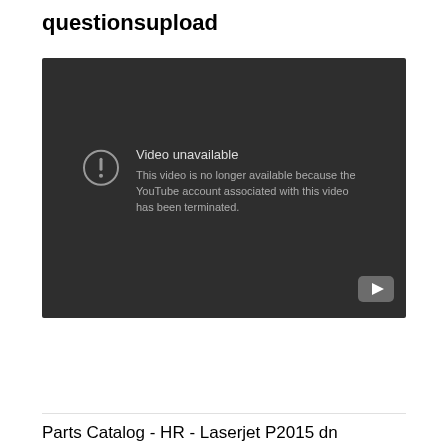questionsupload
[Figure (screenshot): YouTube embedded video player showing an error: 'Video unavailable. This video is no longer available because the YouTube account associated with this video has been terminated.' Dark background with YouTube logo icon in bottom right corner.]
Parts Catalog - HR - Laserjet P2015 dn